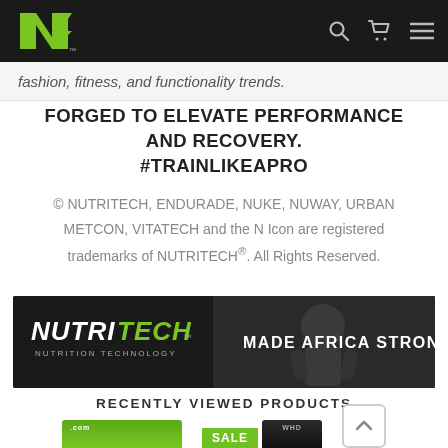NUTRITECH navigation bar with logo, search, cart, and menu icons
fashion, fitness, and functionality trends.
FORGED TO ELEVATE PERFORMANCE AND RECOVERY. #TRAINLIKEAPRO
© NUTRITECH, ENDURADE, NUKE, NUWAY, URBAN METCON, VITATECH and the N Icon are registered trademarks of NUTRITECH®. All Rights Reserved.
[Figure (photo): NUTRITECH brand banner with logo and tagline MADE AFRICA STRONG on dark background with athlete image]
RECENTLY VIEWED PRODUCTS
[Figure (photo): Two product thumbnail images at bottom of page, one with SALE badge]